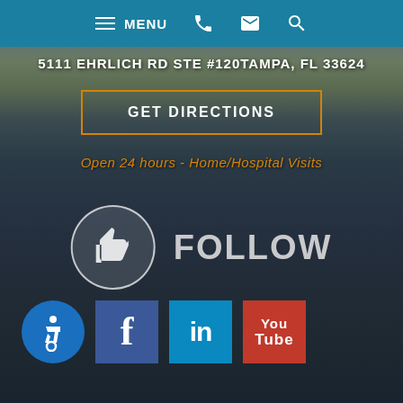MENU navigation bar with phone, email, and search icons
5111 EHRLICH RD STE #120TAMPA, FL 33624
GET DIRECTIONS
Open 24 hours - Home/Hospital Visits
[Figure (infographic): Thumbs up circle icon with FOLLOW text]
[Figure (infographic): Accessibility icon (wheelchair), Facebook, LinkedIn, YouTube social media icons]